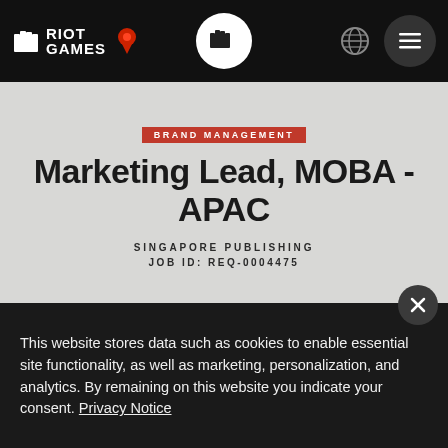Riot Games — Navigation bar with logo, location pin, globe icon, hamburger menu
BRAND MANAGEMENT
Marketing Lead, MOBA - APAC
SINGAPORE PUBLISHING
JOB ID: REQ-0004475
Riot Games was established in 2006 by
This website stores data such as cookies to enable essential site functionality, as well as marketing, personalization, and analytics. By remaining on this website you indicate your consent. Privacy Notice